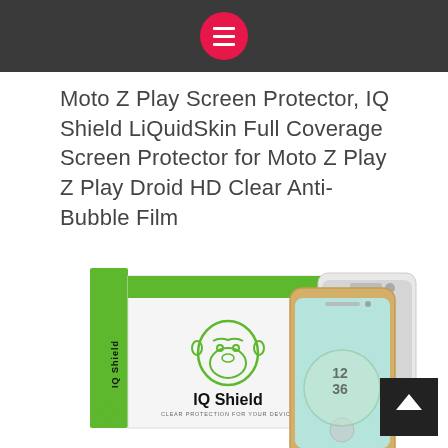Navigation menu button
Moto Z Play Screen Protector, IQ Shield LiQuidSkin Full Coverage Screen Protector for Moto Z Play Z Play Droid HD Clear Anti-Bubble Film
[Figure (photo): Product photo showing IQ Shield green and white retail box packaging alongside two Motorola Moto Z Play smartphones with transparent screen protectors applied. The box displays the IQ Shield gorilla logo and brand name. A dark back-to-top button is visible in the bottom right corner.]